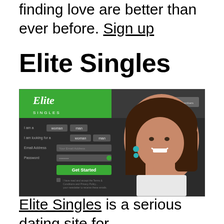finding love are better than ever before. Sign up
Elite Singles
[Figure (screenshot): Screenshot of Elite Singles dating website homepage showing a woman smiling, with a signup form including fields for gender, looking for, email address, password, and a green 'Get Started' button. The Elite Singles logo is visible in the top left on a green background.]
Elite Singles is a serious dating site for...